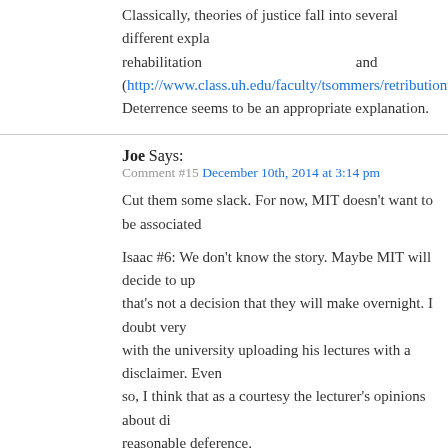Classically, theories of justice fall into several different explanations... rehabilitation and (http://www.class.uh.edu/faculty/tsommers/retribution%20and%20... Deterrence seems to be an appropriate explanation.
Joe Says:
Comment #15 December 10th, 2014 at 3:14 pm
Cut them some slack. For now, MIT doesn't want to be associated...
Isaac #6: We don't know the story. Maybe MIT will decide to up... that's not a decision that they will make overnight. I doubt very ... with the university uploading his lectures with a disclaimer. Even ... so, I think that as a courtesy the lecturer's opinions about di... reasonable deference.
rrtucci Says:
Comment #16 December 10th, 2014 at 3:15 pm
I think MIT should ban itself.
Douglas Knight Says:
Comment #17 December 10th, 2014 at 3:16 pm